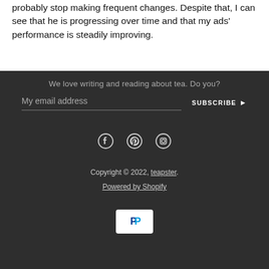probably stop making frequent changes. Despite that, I can see that he is progressing over time and that my ads' performance is steadily improving.
We love writing and reading about tea. Do you?
My email address
SUBSCRIBE ▶
[Figure (other): Social media icons: Facebook, Pinterest, Instagram]
Copyright © 2022, teapster.
Powered by Shopify
[Figure (logo): PayPal payment badge with blue P logo on white rounded rectangle background]